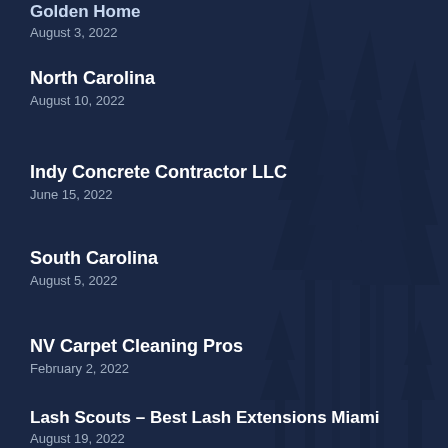Golden Home
August 3, 2022
North Carolina
August 10, 2022
Indy Concrete Contractor LLC
June 15, 2022
South Carolina
August 5, 2022
NV Carpet Cleaning Pros
February 2, 2022
Lash Scouts – Best Lash Extensions Miami
August 19, 2022